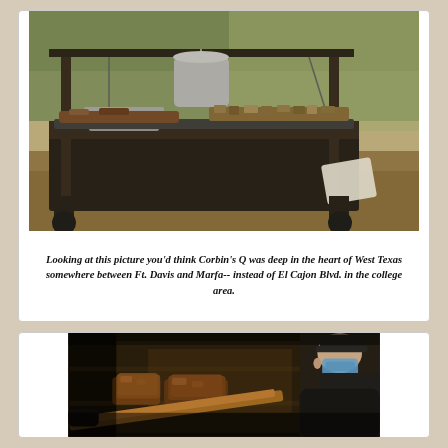[Figure (photo): Outdoor barbecue grill setup with metal frame, large grate holding meat and chopped food, a hanging pot, and trees in the background. Sunny day setting.]
Looking at this picture you'd think Corbin's Q was deep in the heart of West Texas somewhere between Ft. Davis and Marfa-- instead of El Cajon Blvd. in the college area.
[Figure (photo): A person wearing a mask and black cap uses a long wooden-handled paddle to place or retrieve large cuts of smoked meat inside a dark smoker.]